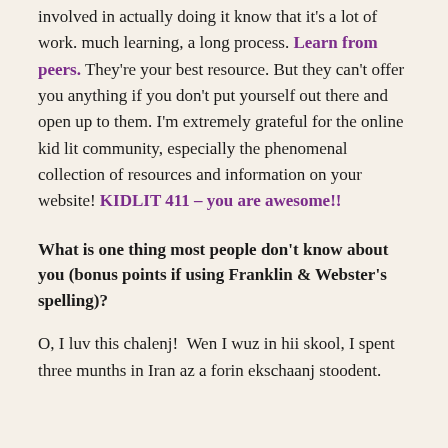involved in actually doing it know that it's a lot of work. much learning, a long process. Learn from peers. They're your best resource. But they can't offer you anything if you don't put yourself out there and open up to them. I'm extremely grateful for the online kid lit community, especially the phenomenal collection of resources and information on your website! KIDLIT 411 – you are awesome!!
What is one thing most people don't know about you (bonus points if using Franklin & Webster's spelling)?
O, I luv this chalenj!  Wen I wuz in hii skool, I spent three munths in Iran az a forin ekschaanj stoodent.